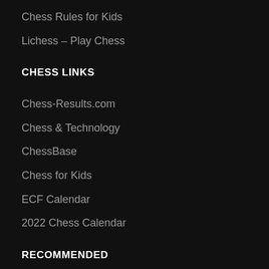Chess Rules for Kids
Lichess – Play Chess
CHESS LINKS
Chess-Results.com
Chess & Technology
ChessBase
Chess for Kids
ECF Calendar
2022 Chess Calendar
RECOMMENDED
[Figure (illustration): Yellow circle icon with white speech bubble / chat icon]
English Chess Fed.